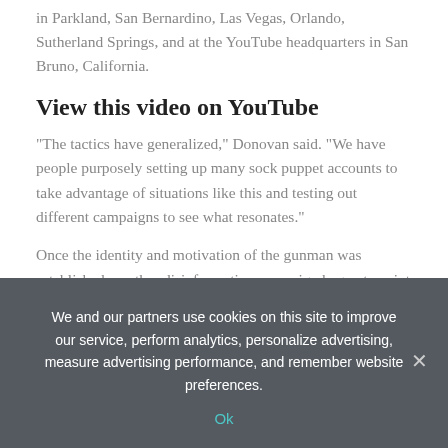in Parkland, San Bernardino, Las Vegas, Orlando, Sutherland Springs, and at the YouTube headquarters in San Bruno, California.
View this video on YouTube
"The tactics have generalized," Donovan said. "We have people purposely setting up many sock puppet accounts to take advantage of situations like this and testing out different campaigns to see what resonates."
Once the identity and motivation of the gunman was established, another disinformation campaign began to paint him as a registered Democrat. Using MyLife, a website that allows anyone to edit records, people online began changing Crusis's details to say he was a registered Democrat and, later, a say he supported the baseless QAnon conspiracy.
Tweets and articles about Crusis's false connection to the
We and our partners use cookies on this site to improve our service, perform analytics, personalize advertising, measure advertising performance, and remember website preferences.
Ok